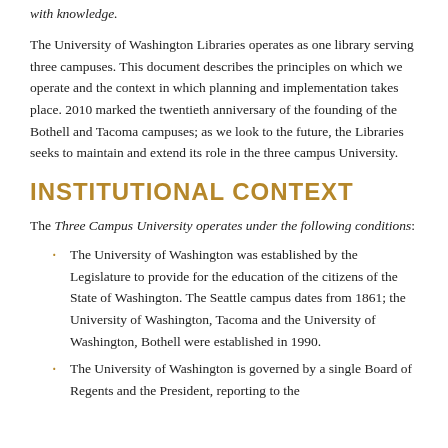with knowledge.
The University of Washington Libraries operates as one library serving three campuses. This document describes the principles on which we operate and the context in which planning and implementation takes place. 2010 marked the twentieth anniversary of the founding of the Bothell and Tacoma campuses; as we look to the future, the Libraries seeks to maintain and extend its role in the three campus University.
INSTITUTIONAL CONTEXT
The Three Campus University operates under the following conditions:
The University of Washington was established by the Legislature to provide for the education of the citizens of the State of Washington. The Seattle campus dates from 1861; the University of Washington, Tacoma and the University of Washington, Bothell were established in 1990.
The University of Washington is governed by a single Board of Regents and the President, reporting to the